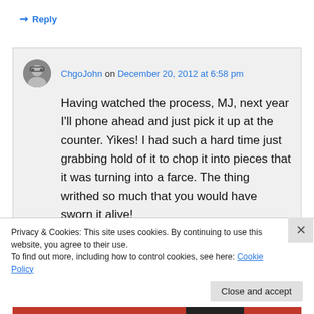↳ Reply
ChgoJohn on December 20, 2012 at 6:58 pm
Having watched the process, MJ, next year I'll phone ahead and just pick it up at the counter. Yikes! I had such a hard time just grabbing hold of it to chop it into pieces that it was turning into a farce. The thing writhed so much that you would have sworn it alive!
Privacy & Cookies: This site uses cookies. By continuing to use this website, you agree to their use.
To find out more, including how to control cookies, see here: Cookie Policy
Close and accept